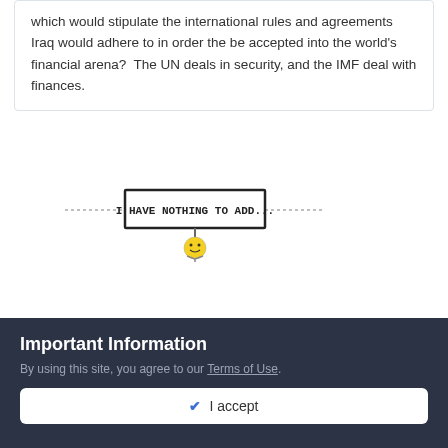which would stipulate the international rules and agreements Iraq would adhere to in order the be accepted into the world's financial arena?  The UN deals in security, and the IMF deal with finances.
[Figure (illustration): A pixel-art emoji holding a sign that says 'I HAVE NOTHING TO ADD...' with dotted lines on either side]
+ Quote
Boozer
Posted September 17, 2017
Important Information
By using this site, you agree to our Terms of Use.
✔ I accept